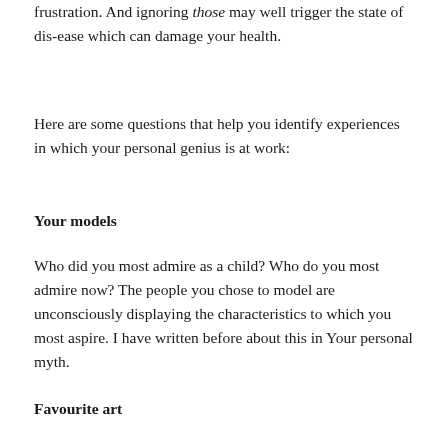frustration. And ignoring those may well trigger the state of dis-ease which can damage your health.
Here are some questions that help you identify experiences in which your personal genius is at work:
Your models
Who did you most admire as a child? Who do you most admire now? The people you chose to model are unconsciously displaying the characteristics to which you most aspire. I have written before about this in Your personal myth.
Favourite art
She liked...